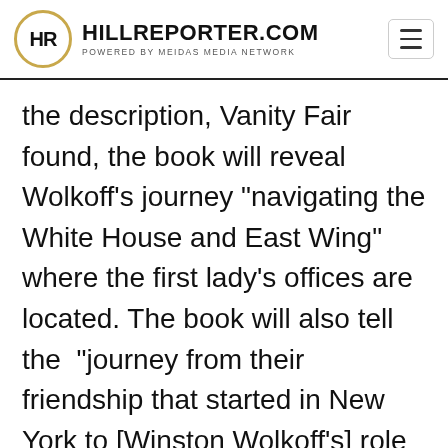HILLREPORTER.COM — POWERED BY MEIDAS MEDIA NETWORK
the description, Vanity Fair found, the book will reveal Wolkoff’s journey “navigating the White House and East Wing” where the first lady’s offices are located. The book will also tell the “journey from their friendship that started in New York to [Winston Wolkoff’s] role as the First Lady’s trusted advisor to her abrupt and very public departure, to life after Washington.”
It will be interesting to see what impact the